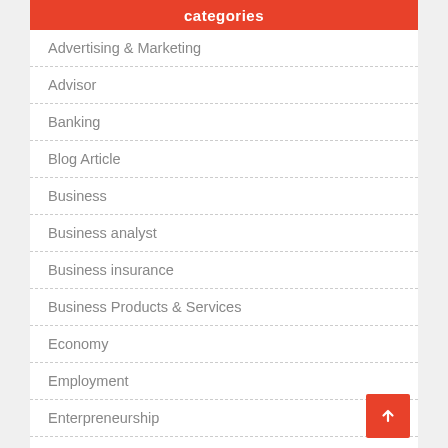categories
Advertising & Marketing
Advisor
Banking
Blog Article
Business
Business analyst
Business insurance
Business Products & Services
Economy
Employment
Enterpreneurship